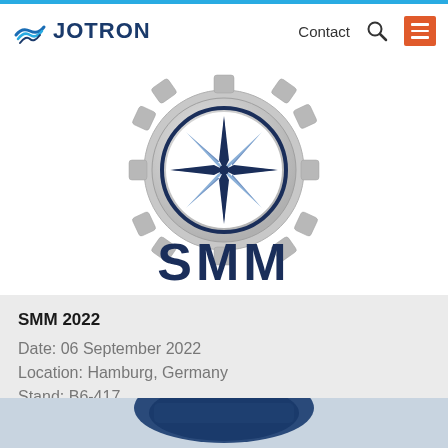JOTRON | Contact
[Figure (logo): SMM 2022 logo: a nautical compass rose star inside a gear/cog wheel with 'SMM' text in dark navy blue below]
SMM 2022
Date: 06 September 2022
Location: Hamburg, Germany
Stand: B6-417
[Figure (photo): Partial photo of a Jotron product (radio/safety equipment) in dark blue, cropped at the bottom of the page]